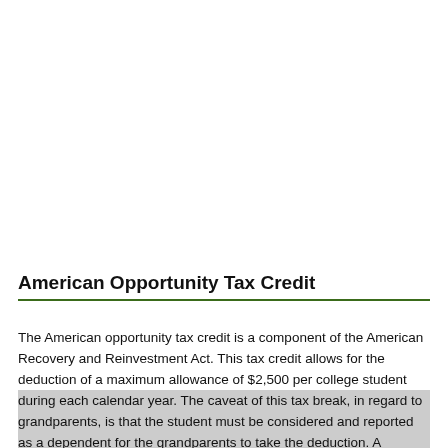American Opportunity Tax Credit
The American opportunity tax credit is a component of the American Recovery and Reinvestment Act. This tax credit allows for the deduction of a maximum allowance of $2,500 per college student during each calendar year. The caveat of this tax break, in regard to grandparents, is that the student must be considered and reported as a dependent for the grandparents to take the deduction. A